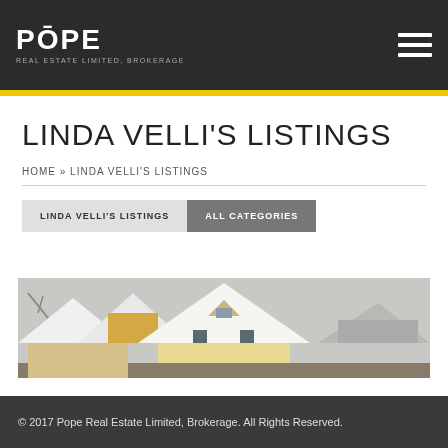POPE REAL ESTATE LIMITED, BROKERAGE
LINDA VELLI'S LISTINGS
HOME » LINDA VELLI'S LISTINGS
LINDA VELLI'S LISTINGS
ALL CATEGORIES
[Figure (photo): Exterior photo of residential houses with peaked roofs in winter/overcast conditions]
© 2017 Pope Real Estate Limited, Brokerage. All Rights Reserved.